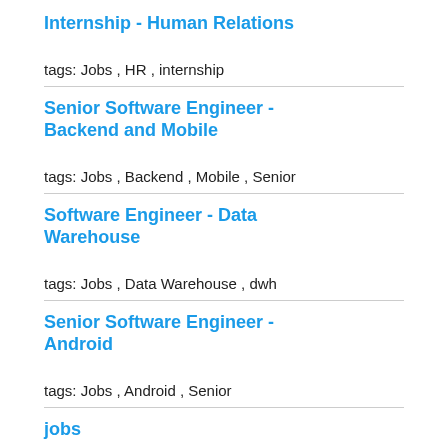Internship - Human Relations
tags: Jobs , HR , internship
Senior Software Engineer - Backend and Mobile
tags: Jobs , Backend , Mobile , Senior
Software Engineer - Data Warehouse
tags: Jobs , Data Warehouse , dwh
Senior Software Engineer - Android
tags: Jobs , Android , Senior
jobs